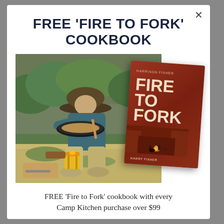FREE 'FIRE TO FORK' COOKBOOK
[Figure (photo): Person wearing a wide-brim hat, sitting cross-legged outdoors on grass, cooking with a pan over a small camp stove. Overlapping with the photo is the 'Fire to Fork' cookbook cover (red/terracotta background with bold white title text 'FIRE TO FORK' and author name 'Harry Fisher').]
FREE 'Fire to Fork' cookbook with every Camp Kitchen purchase over $99